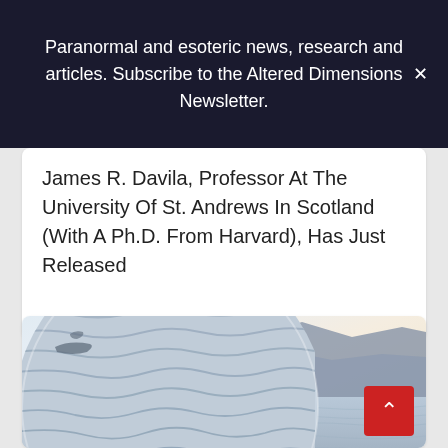Paranormal and esoteric news, research and articles. Subscribe to the Altered Dimensions Newsletter.
James R. Davila, Professor At The University Of St. Andrews In Scotland (With A Ph.D. From Harvard), Has Just Released
[Figure (photo): Photograph of a lake scene, possibly Loch Ness, with a circular inset showing a close-up of rippling water and what appears to be a dark object. The background shows a calm lake with mountains in the distance under a pale sky.]